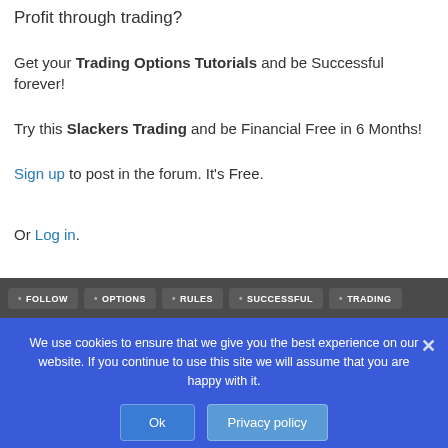Profit through trading?
Get your Trading Options Tutorials and be Successful forever!
Try this Slackers Trading and be Financial Free in 6 Months!
Sign up to post in the forum. It's Free.
Or Log in.
FOLLOW OPTIONS RULES SUCCESSFUL TRADING
We use cookies to ensure that we give you the best experience on our website. If you continue to use this site we will assume that you are happy with it.
Ok
Privacy policy